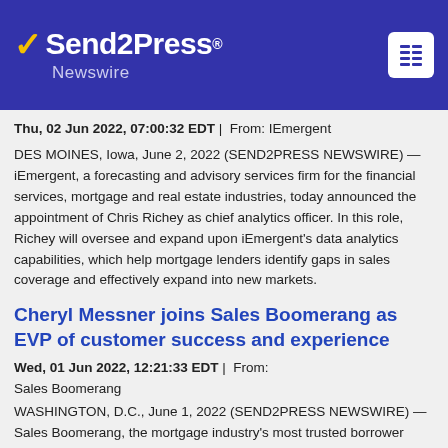Send2Press Newswire
Thu, 02 Jun 2022, 07:00:32 EDT | From: IEmergent
DES MOINES, Iowa, June 2, 2022 (SEND2PRESS NEWSWIRE) — iEmergent, a forecasting and advisory services firm for the financial services, mortgage and real estate industries, today announced the appointment of Chris Richey as chief analytics officer. In this role, Richey will oversee and expand upon iEmergent's data analytics capabilities, which help mortgage lenders identify gaps in sales coverage and effectively expand into new markets.
Cheryl Messner joins Sales Boomerang as EVP of customer success and experience
Wed, 01 Jun 2022, 12:21:33 EDT | From: Sales Boomerang
WASHINGTON, D.C., June 1, 2022 (SEND2PRESS NEWSWIRE) — Sales Boomerang...